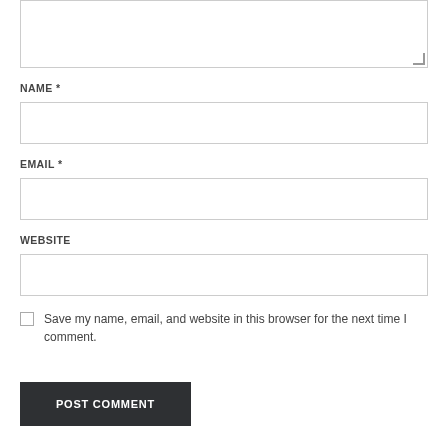[Figure (screenshot): Textarea input box (top portion visible, with resize handle at bottom right)]
NAME *
[Figure (screenshot): Name text input field (empty, bordered box)]
EMAIL *
[Figure (screenshot): Email text input field (empty, bordered box)]
WEBSITE
[Figure (screenshot): Website text input field (empty, bordered box)]
Save my name, email, and website in this browser for the next time I comment.
POST COMMENT